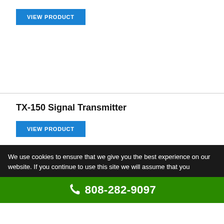VIEW PRODUCT
TX-150 Signal Transmitter
VIEW PRODUCT
We use cookies to ensure that we give you the best experience on our website. If you continue to use this site we will assume that you
808-282-9097